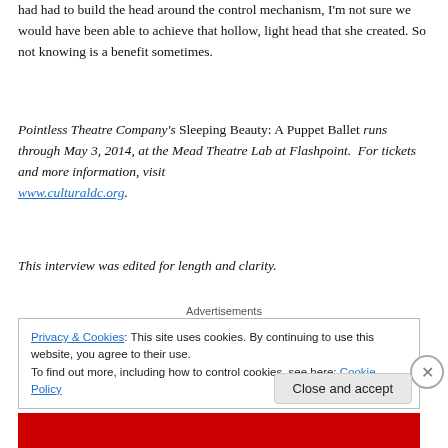had had to build the head around the control mechanism, I'm not sure we would have been able to achieve that hollow, light head that she created. So not knowing is a benefit sometimes.
Pointless Theatre Company's Sleeping Beauty: A Puppet Ballet runs through May 3, 2014, at the Mead Theatre Lab at Flashpoint.  For tickets and more information, visit www.culturaldc.org.
This interview was edited for length and clarity.
Advertisements
Privacy & Cookies: This site uses cookies. By continuing to use this website, you agree to their use.
To find out more, including how to control cookies, see here: Cookie Policy
Close and accept